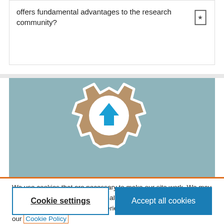offers fundamental advantages to the research community?
[Figure (illustration): A gear/settings icon with a brown/tan gear shape and a blue upward arrow in the center circle, on a blue-gray textured background.]
We use cookies that are necessary to make our site work. We may also use additional cookies to analyze, improve, and personalize our content and your digital experience. For more information, see our Cookie Policy
Cookie settings
Accept all cookies